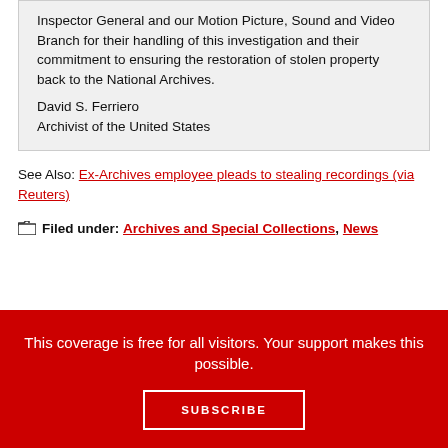Inspector General and our Motion Picture, Sound and Video Branch for their handling of this investigation and their commitment to ensuring the restoration of stolen property back to the National Archives.
David S. Ferriero
Archivist of the United States
See Also: Ex-Archives employee pleads to stealing recordings (via Reuters)
Filed under: Archives and Special Collections, News
This coverage is free for all visitors. Your support makes this possible.